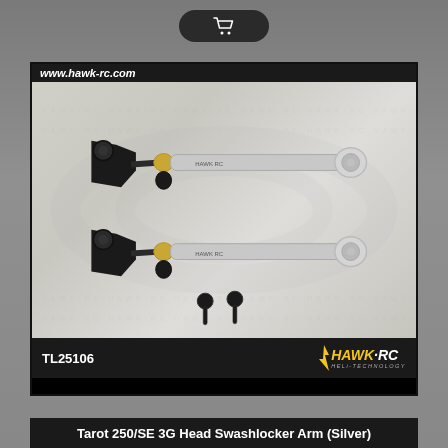[Figure (photo): Shopping cart button icon on dark rounded pill background at top center]
[Figure (photo): Product photo of Tarot 250/SE 3G Head Swashlocker Arm in Silver — two black and silver swashlocker arms with ball links and two small black screws, displayed on light grey background with hawk watermark logo. URL bar at top shows www.hawk-rc.com. Bottom bar shows product code TL25106 and HAWK-RC logo.]
Tarot 250/SE 3G Head Swashlocker Arm (Silver)